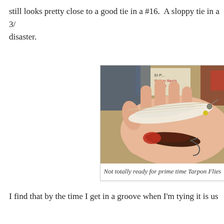still looks pretty close to a good tie in a #16.  A sloppy tie in a 3/ disaster.
[Figure (photo): A hand holding two fly fishing lures (Tarpon Flies) — one large white/tan streamer fly and one smaller dark brown/red fly with hooks visible. Background shows a cluttered fly-tying workspace with labels and materials.]
Not totally ready for prime time Tarpon Flies
I find that by the time I get in a groove when I'm tying it is us